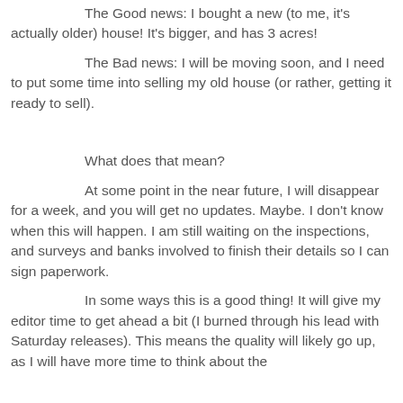The Good news:  I bought a new (to me, it's actually older) house!  It's bigger, and has 3 acres!
The Bad news: I will be moving soon, and I need to put some time into selling my old house (or rather, getting it ready to sell).
What does that mean?
At some point in the near future, I will disappear for a week, and you will get no updates.  Maybe.  I don't know when this will happen.  I am still waiting on the inspections, and surveys and banks involved to finish their details so I can sign paperwork.
In some ways this is a good thing!  It will give my editor time to get ahead a bit (I burned through his lead with Saturday releases).  This means the quality will likely go up, as I will have more time to think about the